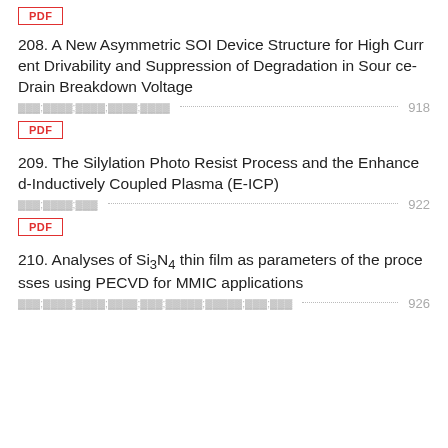[Figure (other): PDF button at top of page]
208. A New Asymmetric SOI Device Structure for High Current Drivability and Suppression of Degradation in Source-Drain Breakdown Voltage
authors (redacted) ........... 918
[Figure (other): PDF button for entry 208]
209. The Silylation Photo Resist Process and the Enhanced-Inductively Coupled Plasma (E-ICP)
authors (redacted) ........... 922
[Figure (other): PDF button for entry 209]
210. Analyses of Si3N4 thin film as parameters of the processes using PECVD for MMIC applications
authors (redacted) ........... 926